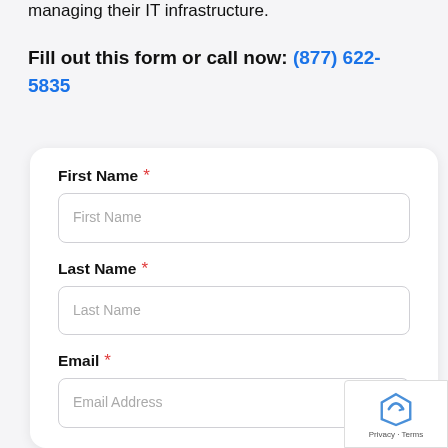managing their IT infrastructure.
Fill out this form or call now: (877) 622-5835
First Name *
First Name
Last Name *
Last Name
Email *
Email Address